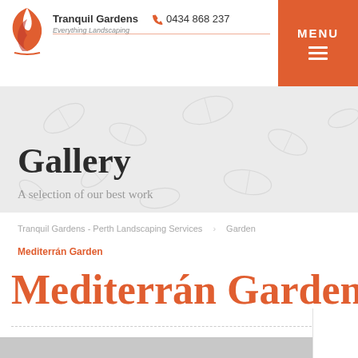Tranquil Gardens Everything Landscaping | 0434 868 237 | MENU
Gallery
A selection of our best work
Tranquil Gardens - Perth Landscaping Services  Garden
Mediterrán Garden
Mediterrán Garden